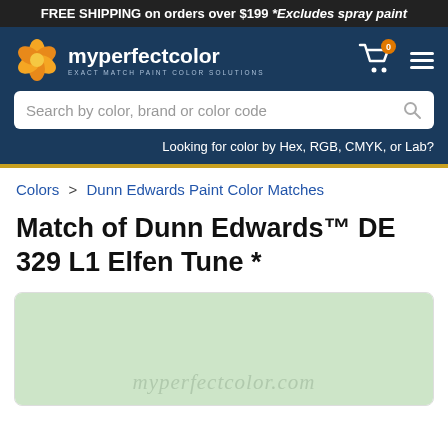FREE SHIPPING on orders over $199 *Excludes spray paint
[Figure (logo): myperfectcolor logo with orange flower and text 'myperfectcolor EXACT MATCH PAINT COLOR SOLUTIONS']
Search by color, brand or color code
Looking for color by Hex, RGB, CMYK, or Lab?
Colors > Dunn Edwards Paint Color Matches
Match of Dunn Edwards™ DE 329 L1 Elfen Tune *
[Figure (illustration): Light mint green color swatch with myperfectcolor.com watermark]